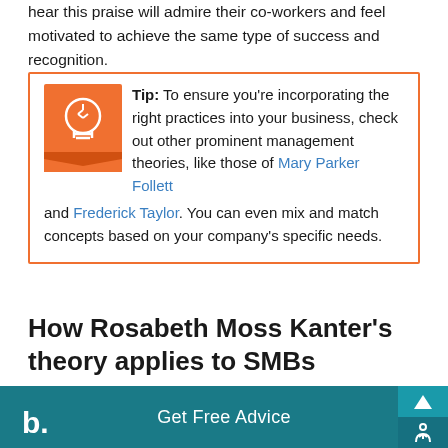hear this praise will admire their co-workers and feel motivated to achieve the same type of success and recognition.
Tip: To ensure you're incorporating the right practices into your business, check out other prominent management theories, like those of Mary Parker Follett and Frederick Taylor. You can even mix and match concepts based on your company's specific needs.
How Rosabeth Moss Kanter's theory applies to SMBs
Entrepreneurs and small business owners should
b. Get Free Advice